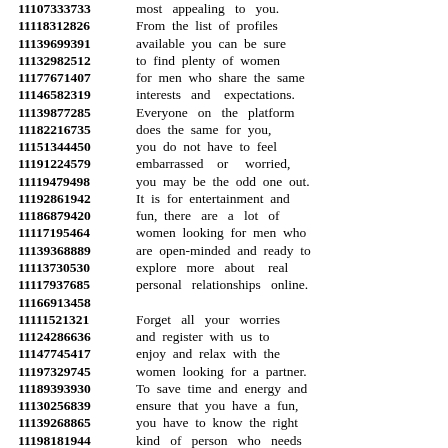11107333733 most appealing to you. 11118312826 From the list of profiles 11139699391 available you can be sure 11132982512 to find plenty of women 11177671407 for men who share the same 11146582319 interests and expectations. 11139877285 Everyone on the platform 11182216735 does the same for you, 11151344450 you do not have to feel 11191224579 embarrassed or worried, 11119479498 you may be the odd one out. 11192861942 It is for entertainment and 11186879420 fun, there are a lot of 11117195464 women looking for men who 11139368889 are open-minded and ready to 11113730530 explore more about real 11117937685 personal relationships online. 11166913458 11111521321 Forget all your worries 11124286636 and register with us to 11147745417 enjoy and relax with the 11197329745 women looking for a partner. 11189393930 To save time and energy and 11130256839 ensure that you have a fun, 11139268865 you have to know the right 11198181944 kind of person who needs